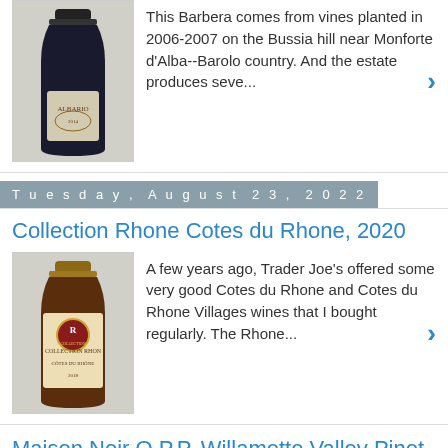This Barbera comes from vines planted in 2006-2007 on the Bussia hill near Monforte d'Alba--Barolo country. And the estate produces seve...
Tuesday, August 23, 2022
Collection Rhone Cotes du Rhone, 2020
A few years ago, Trader Joe's offered some very good Cotes du Rhone and Cotes du Rhone Villages wines that I bought regularly. The Rhone...
Maison Noir O.P.P. Willamette Valley Pinot Noir, 2019
The O.P.P. that dominates the label of this wine designates "Other People's Pinot Noir." What that